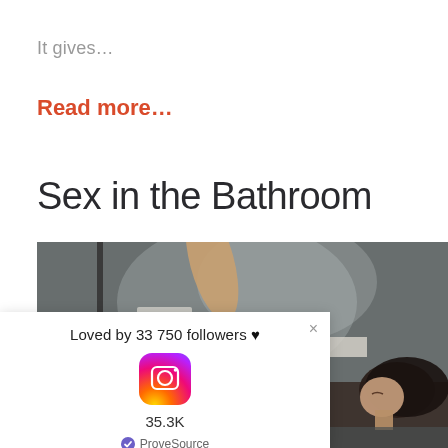It gives…
Read more…
Sex in the Bathroom
[Figure (photo): Woman relaxing in a steamy bathroom, feet raised, head resting back]
[Figure (infographic): ProveSource popup: Loved by 33 750 followers with Instagram icon showing 35.3K and ProveSource branding]